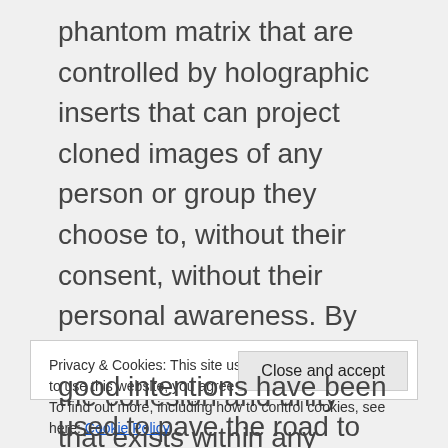phantom matrix that are controlled by holographic inserts that can project cloned images of any person or group they choose to, without their consent, without their personal awareness. By methodically destroying the cohesion and unity that exists within any targeted group, leader or organization, the overall group objectives are weakened by internal division and chaos, whereby outside organized dark forces that use controlled chaos and false flag tactics can intercept and easily
Privacy & Cookies: This site uses cookies. By continuing to use this website, you agree to their use. To find out more, including how to control cookies, see here: Cookie Policy
Close and accept
good intentions have been used to pave the road to